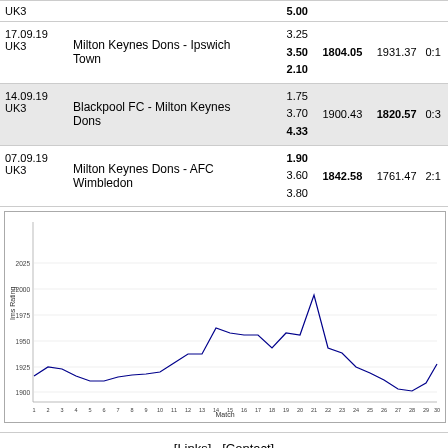| Date | Match | Odds | Rating1 | Rating2 | Score |
| --- | --- | --- | --- | --- | --- |
| UK3 |  | 5.00 |  |  |  |
| 17.09.19 UK3 | Milton Keynes Dons - Ipswich Town | 3.25
3.50
2.10 | 1804.05 | 1931.37 | 0:1 |
| 14.09.19 UK3 | Blackpool FC - Milton Keynes Dons | 1.75
3.70
4.33 | 1900.43 | 1820.57 | 0:3 |
| 07.09.19 UK3 | Milton Keynes Dons - AFC Wimbledon | 1.90
3.60
3.80 | 1842.58 | 1761.47 | 2:1 |
[Figure (line-chart): ]
[Links]   [Contact]
© 2016 soccer-rating.com